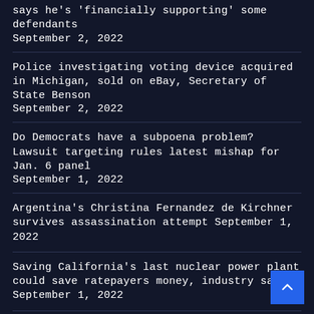says he's 'financially supporting' some defendants September 2, 2022
Police investigating voting device acquired in Michigan, sold on eBay, Secretary of State Benson September 2, 2022
Do Democrats have a subpoena problem? Lawsuit targeting rules latest mishap for Jan. 6 panel September 1, 2022
Argentina's Christina Fernandez de Kirchner survives assassination attempt September 1, 2022
Saving California's last nuclear power plant could save ratepayers money, industry says September 1, 2022